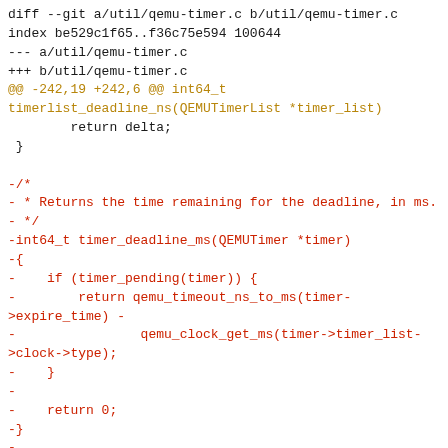[Figure (screenshot): A unified diff of util/qemu-timer.c showing removal of the timer_deadline_ms function and context lines for the surrounding code. Lines in gold/dark-yellow are hunk headers, lines in red are removed lines, and lines in black are context lines.]